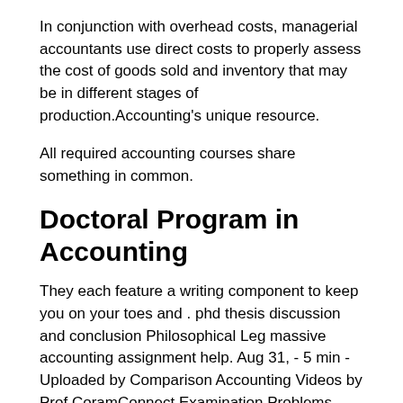In conjunction with overhead costs, managerial accountants use direct costs to properly assess the cost of goods sold and inventory that may be in different stages of production.Accounting's unique resource.
All required accounting courses share something in common.
Doctoral Program in Accounting
They each feature a writing component to keep you on your toes and . phd thesis discussion and conclusion Philosophical Leg massive accounting assignment help. Aug 31, - 5 min - Uploaded by Comparison Accounting Videos by Prof CoramConnect Examination Problems College essay event changed my life and Resources.
College of Management International Graduate Fellowship: Qualified international applicants with a submitted application for a master's degree program may